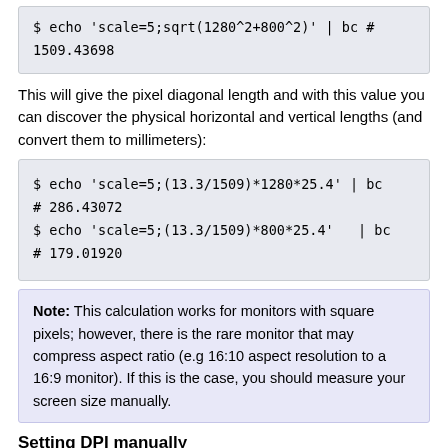$ echo 'scale=5;sqrt(1280^2+800^2)' | bc  # 1509.43698
This will give the pixel diagonal length and with this value you can discover the physical horizontal and vertical lengths (and convert them to millimeters):
$ echo 'scale=5;(13.3/1509)*1280*25.4' | bc
# 286.43072
$ echo 'scale=5;(13.3/1509)*800*25.4'  | bc
# 179.01920
Note: This calculation works for monitors with square pixels; however, there is the rare monitor that may compress aspect ratio (e.g 16:10 aspect resolution to a 16:9 monitor). If this is the case, you should measure your screen size manually.
Setting DPI manually
Note: While you can set any dpi you like and applications